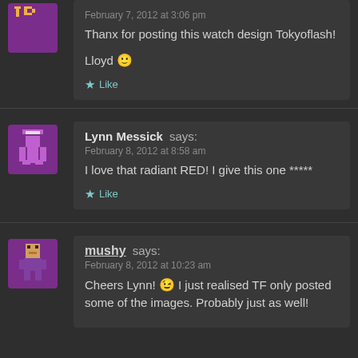February 7, 2012 at 3:06 pm
Thanx for posting this watch design Tokyoflash!
Lloyd 🙂
★ Like
Lynn Messick says:
February 8, 2012 at 8:58 am
I love that radiant RED! I give this one *****
★ Like
mushy says:
February 8, 2012 at 10:23 am
Cheers Lynn! 😉 I just realised TF only posted some of the images. Probably just as well!